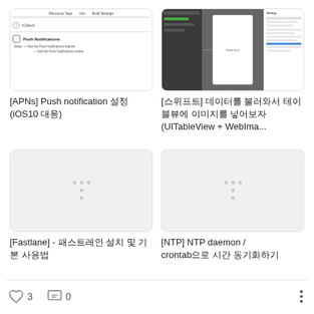[Figure (screenshot): Xcode Build Settings screenshot showing iCloud and Push Notifications capabilities with Resource Tags, Info, Build Settings tabs]
[APNs] Push notification 설정 (iOS10 대응)
[Figure (screenshot): Xcode Storyboard interface builder with UITableView and right panel settings]
[스위프트] 데이터를 불러와서 테이블뷰에 이미지를 넣어보자 (UITableView + WebIma...
[Figure (screenshot): Loading placeholder with dots indicating image not loaded]
[Fastlane] - 패스트레인 설치 및 기본 사용법
[Figure (screenshot): Loading placeholder with dots indicating image not loaded]
[NTP] NTP daemon / crontab으로 시간 동기화하기